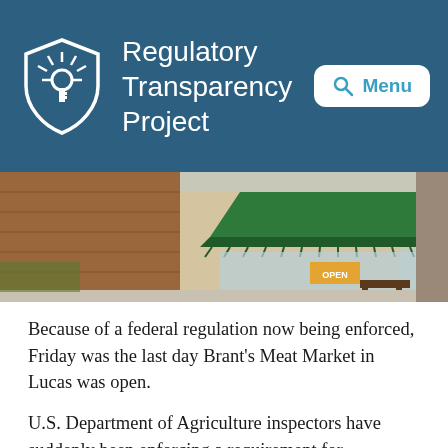Regulatory Transparency Project
[Figure (photo): Exterior of Brant's Meat Market with green awning, brick building, bench outside, Open sign in window]
Because of a federal regulation now being enforced, Friday was the last day Brant's Meat Market in Lucas was open.
U.S. Department of Agriculture inspectors have suddenly been enforcing a requirement for documentation that's been on the books since 2000, By Tom Wacensten, By Bondan Hill said Fri...